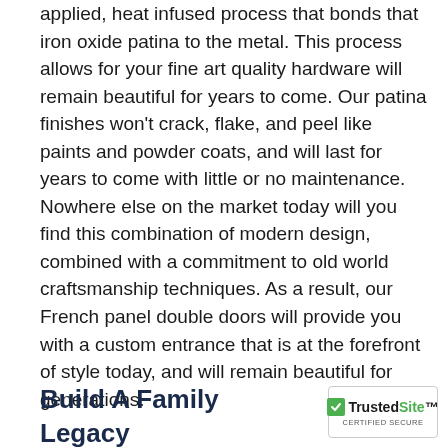applied, heat infused process that bonds that iron oxide patina to the metal. This process allows for your fine art quality hardware will remain beautiful for years to come. Our patina finishes won't crack, flake, and peel like paints and powder coats, and will last for years to come with little or no maintenance. Nowhere else on the market today will you find this combination of modern design, combined with a commitment to old world craftsmanship techniques. As a result, our French panel double doors will provide you with a custom entrance that is at the forefront of style today, and will remain beautiful for generations.
Build A Family Legacy Through Heirloom Doors
[Figure (logo): TrustedSite Certified Secure badge with green checkmark]